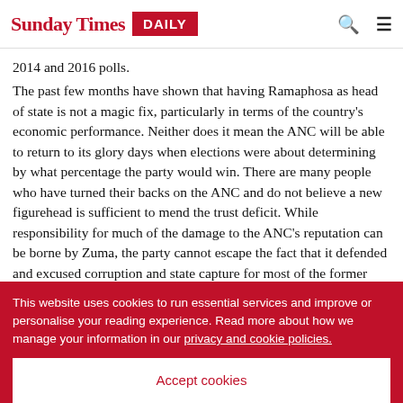Sunday Times DAILY
2014 and 2016 polls.
The past few months have shown that having Ramaphosa as head of state is not a magic fix, particularly in terms of the country's economic performance. Neither does it mean the ANC will be able to return to its glory days when elections were about determining by what percentage the party would win. There are many people who have turned their backs on the ANC and do not believe a new figurehead is sufficient to mend the trust deficit. While responsibility for much of the damage to the ANC's reputation can be borne by Zuma, the party cannot escape the fact that it defended and excused corruption and state capture for most of the former president's term. That will
This website uses cookies to run essential services and improve or personalise your reading experience. Read more about how we manage your information in our privacy and cookie policies.
Accept cookies